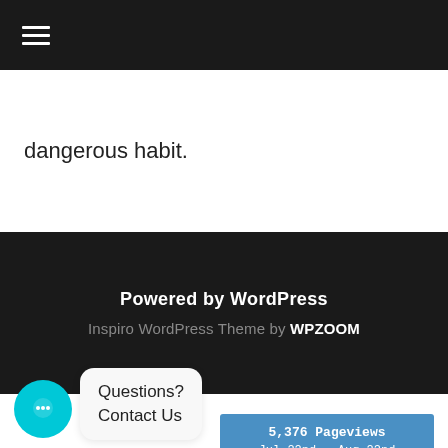☰ (hamburger menu icon)
dangerous habit.
Powered by WordPress
Inspiro WordPress Theme by WPZOOM
[Figure (map): World map showing 5,376 Pageviews Jul 22nd - Aug 22nd with colored dots indicating visitor locations, on a blue background with white country outlines. Zoom controls (+/-) visible in lower left.]
Questions? Contact Us